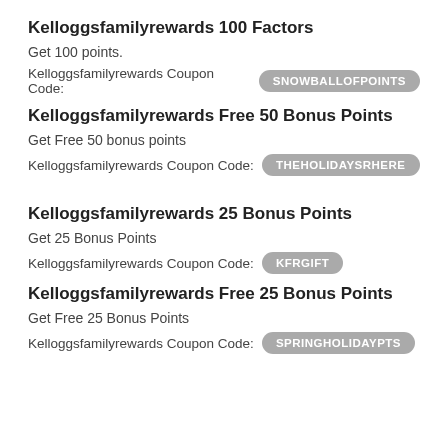Kelloggsfamilyrewards 100 Factors
Get 100 points.
Kelloggsfamilyrewards Coupon Code: SNOWBALLOFPOINTS
Kelloggsfamilyrewards Free 50 Bonus Points
Get Free 50 bonus points
Kelloggsfamilyrewards Coupon Code: THEHOLIDAYSRHERE
Kelloggsfamilyrewards 25 Bonus Points
Get 25 Bonus Points
Kelloggsfamilyrewards Coupon Code: KFRGIFT
Kelloggsfamilyrewards Free 25 Bonus Points
Get Free 25 Bonus Points
Kelloggsfamilyrewards Coupon Code: SPRINGHOLIDAYPTS